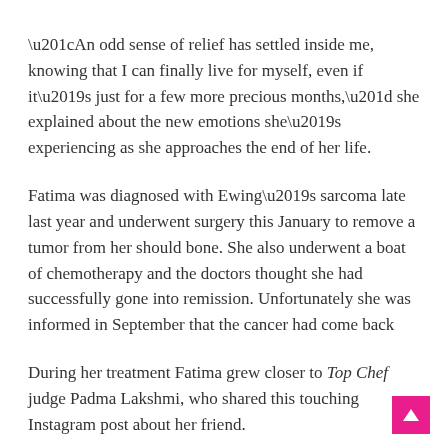“An odd sense of relief has settled inside me, knowing that I can finally live for myself, even if it’s just for a few more precious months,” she explained about the new emotions she’s experiencing as she approaches the end of her life.
Fatima was diagnosed with Ewing’s sarcoma late last year and underwent surgery this January to remove a tumor from her should bone. She also underwent a boat of chemotherapy and the doctors thought she had successfully gone into remission. Unfortunately she was informed in September that the cancer had come back
During her treatment Fatima grew closer to Top Chef judge Padma Lakshmi, who shared this touching Instagram post about her friend.